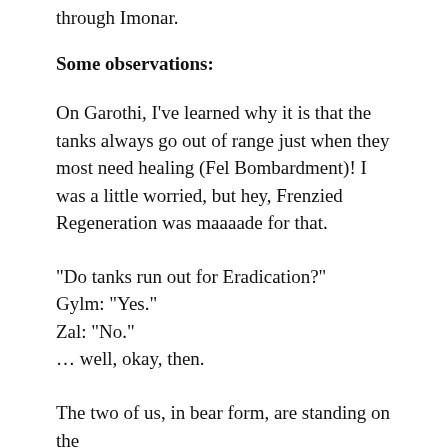through Imonar.
Some observations:
On Garothi, I’ve learned why it is that the tanks always go out of range just when they most need healing (Fel Bombardment)! I was a little worried, but hey, Frenzied Regeneration was maaaade for that.
“Do tanks run out for Eradication?”
Gylm: “Yes.”
Zal: “No.”
… well, okay, then.
The two of us, in bear form, are standing on the